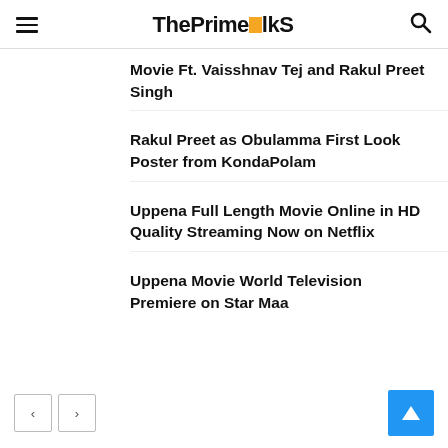ThePrimeTalks
Movie Ft. Vaisshnav Tej and Rakul Preet Singh
Rakul Preet as Obulamma First Look Poster from KondaPolam
Uppena Full Length Movie Online in HD Quality Streaming Now on Netflix
Uppena Movie World Television Premiere on Star Maa
< > navigation and back to top button